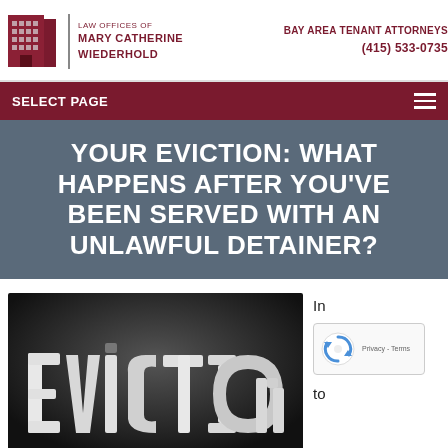LAW OFFICES OF MARY CATHERINE WIEDERHOLD | BAY AREA TENANT ATTORNEYS (415) 533-0735
YOUR EVICTION: WHAT HAPPENS AFTER YOU'VE BEEN SERVED WITH AN UNLAWFUL DETAINER?
[Figure (photo): Dark background photo showing block letters spelling 'Eviction']
In

to